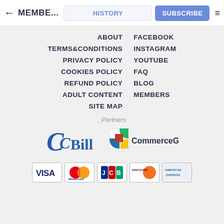← MEMBE... | HISTORY | SUBSCRIBE | ≡
ABOUT
FACEBOOK
TERMS&CONDITIONS
INSTAGRAM
PRIVACY POLICY
YOUTUBE
COOKIES POLICY
FAQ
REFUND POLICY
BLOG
ADULT CONTENT
MEMBERS
SITE MAP
_Partners
[Figure (logo): CCBill payment processor logo]
[Figure (logo): CommerceGate payment processor logo]
[Figure (logo): Payment card logos: VISA, MasterCard, JCB, DISCOVER, AMERICAN EXPRESS]